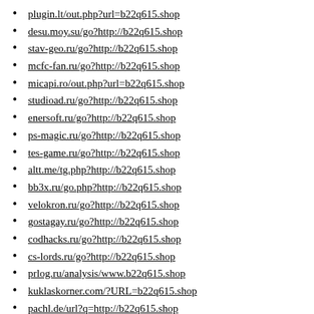plugin.lt/out.php?url=b22q615.shop
desu.moy.su/go?http://b22q615.shop
stav-geo.ru/go?http://b22q615.shop
mcfc-fan.ru/go?http://b22q615.shop
micapi.ro/out.php?url=b22q615.shop
studioad.ru/go?http://b22q615.shop
enersoft.ru/go?http://b22q615.shop
ps-magic.ru/go?http://b22q615.shop
tes-game.ru/go?http://b22q615.shop
altt.me/tg.php?http://b22q615.shop
bb3x.ru/go.php?http://b22q615.shop
velokron.ru/go?http://b22q615.shop
gostagay.ru/go?http://b22q615.shop
codhacks.ru/go?http://b22q615.shop
cs-lords.ru/go?http://b22q615.shop
prlog.ru/analysis/www.b22q615.shop
kuklaskorner.com/?URL=b22q615.shop
pachl.de/url?q=http://b22q615.shop
w.z-z.jp/c.cgi?http://b22q615.shop